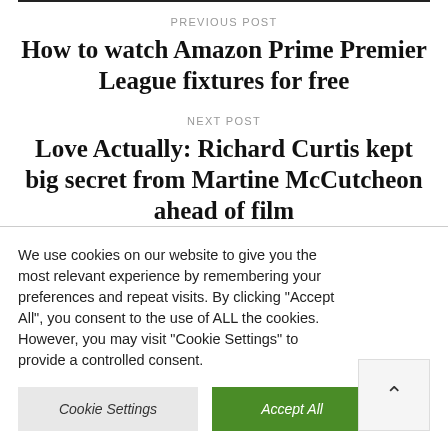PREVIOUS POST
How to watch Amazon Prime Premier League fixtures for free
NEXT POST
Love Actually: Richard Curtis kept big secret from Martine McCutcheon ahead of film
We use cookies on our website to give you the most relevant experience by remembering your preferences and repeat visits. By clicking “Accept All”, you consent to the use of ALL the cookies. However, you may visit “Cookie Settings” to provide a controlled consent.